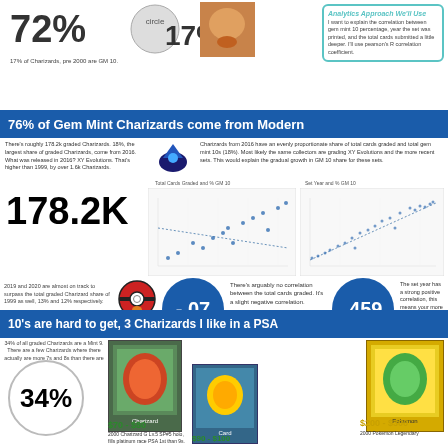72%
17%
17% of Charizards, pre 2000 are GM 10.
Analytics Approach We'll Use
I want to explain the correlation between gem mint 10 percentage, year the set was printed, and the total cards submitted a little deeper. I'll use pearson's R correlation coefficient.
76% of Gem Mint Charizards come from Modern
There's roughly 178.2k graded Charizards. 18%, the largest share of graded Charizards, come from 2016. What was released in 2016? XY Evolutions. That's higher than 1999, by over 1.6k Charizards.
Charizards from 2016 have an evenly proportionate share of total cards graded and total gem mint 10s (18%). Most likely the same collectors are grading XY Evolutions and the more recent sets. This would explain the gradual growth in GM 10 share for these sets.
Total Cards Graded and % GM 10
Set Year and % GM 10
178.2K
[Figure (scatter-plot): Two scatter plots side by side showing Total Cards Graded vs % GM 10 and Set Year vs % GM 10 for Charizard cards]
2019 and 2020 are almost on track to surpass the total graded Charizard share of 1999 as well, 13% and 12% respectively.
-.07
There's arguably no correlation between the total cards graded. It's a slight negative correlation.
.459
The set year has a strong positive correlation, this means your more likely to get a gem mint ten from modern sets.
10's are hard to get, 3 Charizards I like in a PSA
34% of all graded Charizards are a Mint 9. There are a few Charizards where there actually are more 7s and 8s than there are 9s.
34%
$70 - $80
2000 Charizard G Lv.5 SP#5 holo, fills platinum race PSA 1st than 9s.
$90 - $100
$200 - $300
2000 Pokemon Legendary